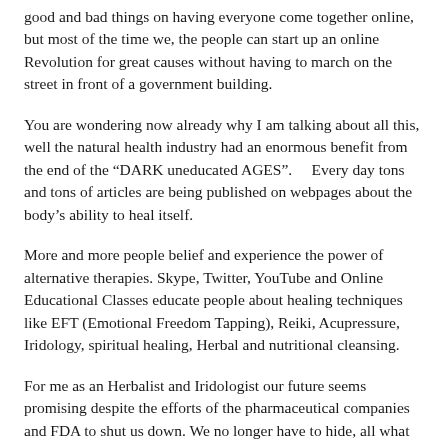good and bad things on having everyone come together online, but most of the time we, the people can start up an online Revolution for great causes without having to march on the street in front of a government building.
You are wondering now already why I am talking about all this, well the natural health industry had an enormous benefit from the end of the “DARK uneducated AGES”.    Every day tons and tons of articles are being published on webpages about the body’s ability to heal itself.
More and more people belief and experience the power of alternative therapies. Skype, Twitter, YouTube and Online Educational Classes educate people about healing techniques like EFT (Emotional Freedom Tapping), Reiki, Acupressure, Iridology, spiritual healing, Herbal and nutritional cleansing.
For me as an Herbalist and Iridologist our future seems promising despite the efforts of the pharmaceutical companies and FDA to shut us down. We no longer have to hide, all what we have to do is keep publishing articles to educate the public that they have options in